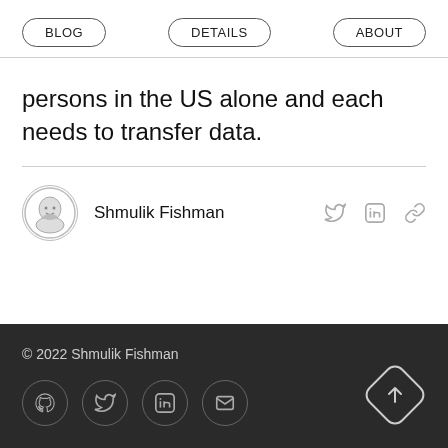BLOG | DETAILS | ABOUT
persons in the US alone and each needs to transfer data.
Shmulik Fishman
© 2022 Shmulik Fishman